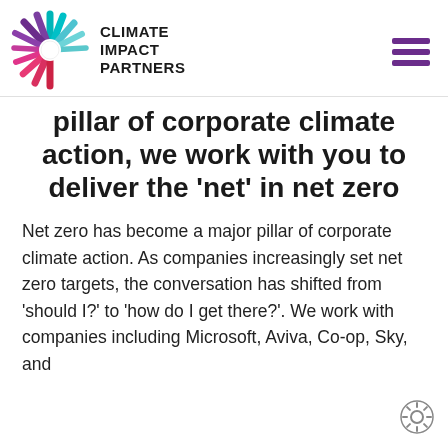[Figure (logo): Climate Impact Partners logo: a circular starburst with multicolored rays (teal, purple, pink, red) and a white circle center, next to bold text reading CLIMATE IMPACT PARTNERS]
pillar of corporate climate action, we work with you to deliver the 'net' in net zero
Net zero has become a major pillar of corporate climate action. As companies increasingly set net zero targets, the conversation has shifted from 'should I?' to 'how do I get there?'. We work with companies including Microsoft, Aviva, Co-op, Sky, and